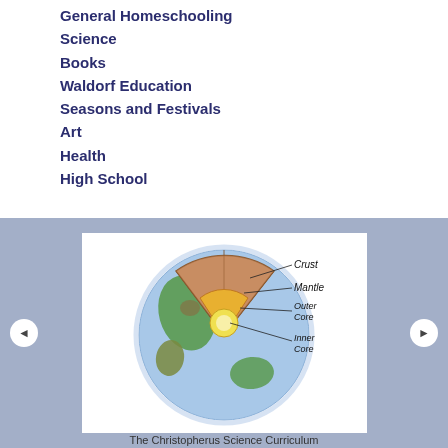General Homeschooling
Science
Books
Waldorf Education
Seasons and Festivals
Art
Health
High School
[Figure (illustration): Hand-drawn diagram of the Earth's interior layers showing a cross-section with labels: Crust, Mantle, Outer Core, Inner Core. The Earth is shown as a globe with blue oceans and green landmasses, with a triangular wedge cut away revealing the interior layers in brown/tan tones and a yellow glowing inner core. Lines point from labels to each layer.]
The Christopherus Science Curriculum